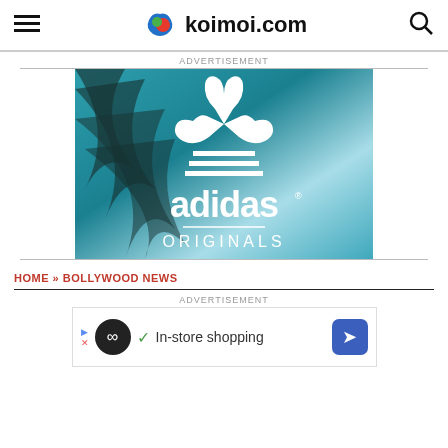koimoi.com
ADVERTISEMENT
[Figure (logo): Adidas Originals advertisement banner with teal background, palm leaves, white trefoil logo, and 'adidas ORIGINALS' text]
HOME » BOLLYWOOD NEWS
ADVERTISEMENT
[Figure (other): In-store shopping advertisement banner with dark circle icon, checkmark, and blue diamond navigation icon]